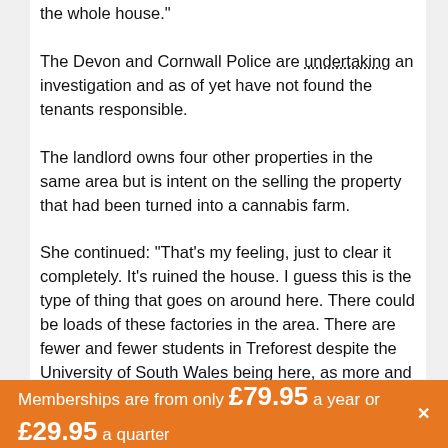the whole house."
The Devon and Cornwall Police are undertaking an investigation and as of yet have not found the tenants responsible.
The landlord owns four other properties in the same area but is intent on the selling the property that had been turned into a cannabis farm.
She continued: "That's my feeling, just to clear it completely. It's ruined the house. I guess this is the type of thing that goes on around here. There could be loads of these factories in the area. There are fewer and fewer students in Treforest despite the University of South Wales being here, as more and more want to move to Cardiff. There are loads of ‘for sale’ and ‘to let’ signs if you look around. The incident hasn’t put me off the area as such.
Memberships are from only £79.95 a year or £29.95 a quarter